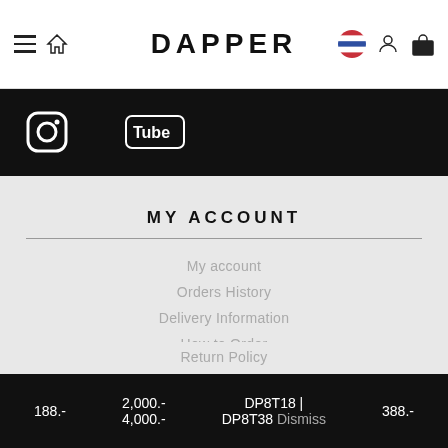DAPPER
[Figure (screenshot): Black social media bar with Instagram and YouTube icons]
MY ACCOUNT
My account
Orders History
Delivery Information
How to Order
Return Policy
Payment Methods
188.-   2,000.-   DP8T18 |   388.-   4,000.-   DP8T38   Dismiss